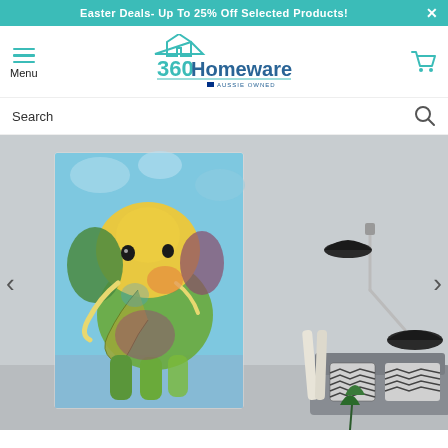Easter Deals- Up To 25% Off Selected Products!
[Figure (logo): 360Homeware logo with house icon and 'AUSSIE OWNED' tagline, teal/dark blue color scheme]
Menu
Search
[Figure (photo): Product photo showing a colorful watercolor elephant canvas print displayed in a modern living room setting. The canvas hangs on a light grey wall beside a black articulated wall lamp, with a grey sofa and patterned cushions visible below. The painting depicts a vibrant elephant in blue, yellow, green, and purple tones against a blue sky background.]